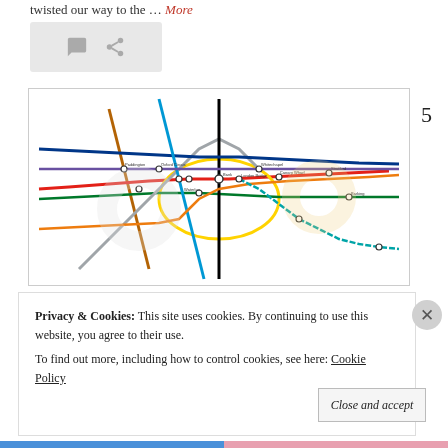twisted our way to the … More
[Figure (screenshot): Social sharing bar with comment icon and share icon on grey background]
[Figure (map): London Underground tube map showing coloured transit lines, stations, and station names across the network]
5
Privacy & Cookies: This site uses cookies. By continuing to use this website, you agree to their use.
To find out more, including how to control cookies, see here: Cookie Policy
Close and accept